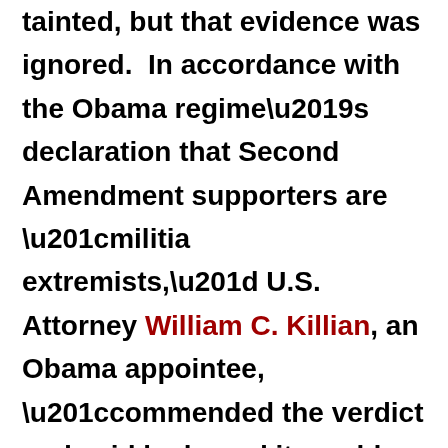tainted, but that evidence was ignored. In accordance with the Obama regime's declaration that Second Amendment supporters are “militia extremists,” U.S. Attorney William C. Killian, an Obama appointee, “commended the verdict and said he hoped it would send a strong message to those who attempt to take the law into their own hands.”